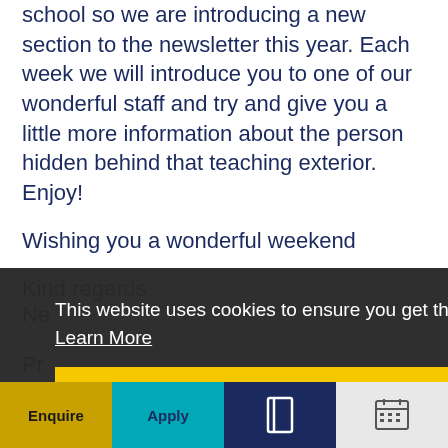school so we are introducing a new section to the newsletter this year. Each week we will introduce you to one of our wonderful staff and try and give you a little more information about the person hidden behind that teaching exterior. Enjoy!
Wishing you a wonderful weekend
Kind regards
Ne[name partially obscured]
Pr[incipal partially obscured]
This website uses cookies to ensure you get the best experience on our website. Learn More
Got it!
Enquire | Apply | [book icon] | [calendar icon]